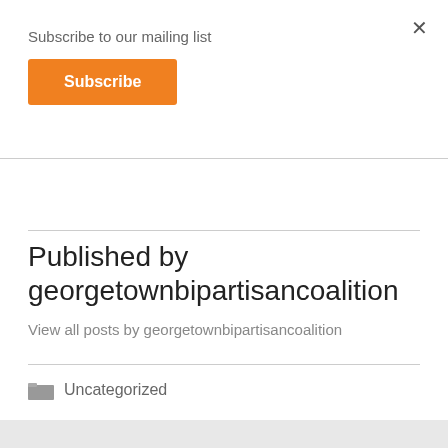×
Subscribe to our mailing list
Subscribe
Published by georgetownbipartisancoalition
View all posts by georgetownbipartisancoalition
Uncategorized